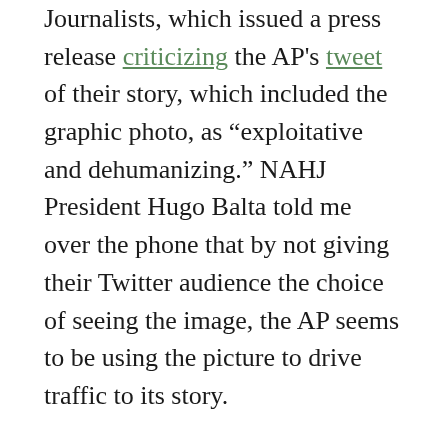Journalists, which issued a press release criticizing the AP's tweet of their story, which included the graphic photo, as "exploitative and dehumanizing." NAHJ President Hugo Balta told me over the phone that by not giving their Twitter audience the choice of seeing the image, the AP seems to be using the picture to drive traffic to its story.
“Not a lot of thought was given to the impact that the image would have with the community and the